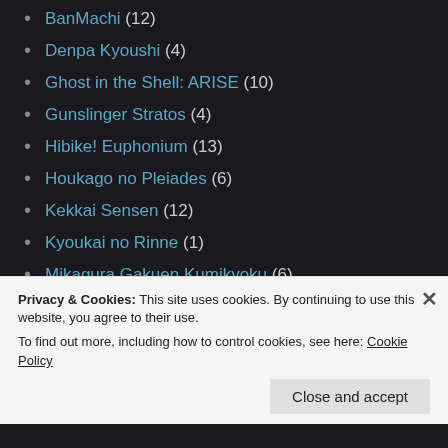BanMachi (12)
Denpa Kyoushi (4)
Ghost in the Shell: ARISE (10)
Gunslinger Stratos (4)
Hibike! Euphonium (13)
Houkago no Pleiades (6)
Kekkai Sensen (12)
Kyoukai no Rinne (1)
Mikagura Gakuen Kumikyoku (6)
Nagato Yuki-chan no Shoushitsu (16)
Nisekoi 2 (12)
Ore Monogatari!! (24)
Privacy & Cookies: This site uses cookies. By continuing to use this website, you agree to their use. To find out more, including how to control cookies, see here: Cookie Policy
Close and accept